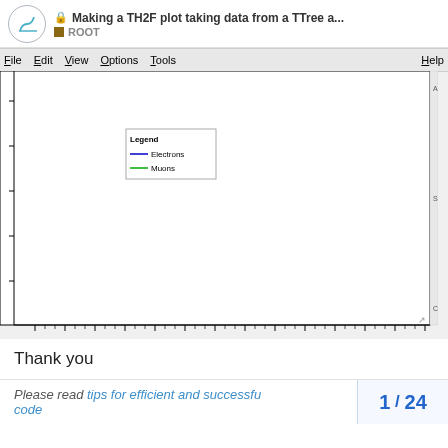Making a TH2F plot taking data from a TTree a... ROOT
[Figure (screenshot): ROOT TBrowser/canvas window showing a plot area with a white background, a menu bar with File, Edit, View, Options, Tools, Help, tick marks along the x and y axes, and a legend box containing 'Legend', 'Electrons' (blue line), 'Muons' (green line). The plot area is otherwise empty.]
Thank you
Please read tips for efficient and successfu code
1 / 24